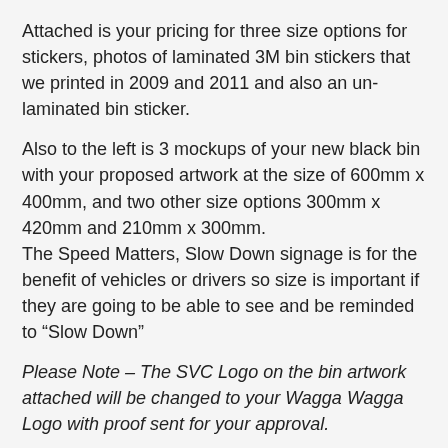Attached is your pricing for three size options for stickers, photos of laminated 3M bin stickers that we printed in 2009 and 2011 and also an un-laminated bin sticker.
Also to the left is 3 mockups of your new black bin with your proposed artwork at the size of 600mm x 400mm, and two other size options 300mm x 420mm and 210mm x 300mm.
The Speed Matters, Slow Down signage is for the benefit of vehicles or drivers so size is important if they are going to be able to see and be reminded to “Slow Down”
Please Note – The SVC Logo on the bin artwork attached will be changed to your Wagga Wagga Logo with proof sent for your approval.
The reflective is 3M™ 7310 Flexible Engineer Grade Reflective Sheeting. It has been specially designed to have high scratch resistance and is flexible and durable. The